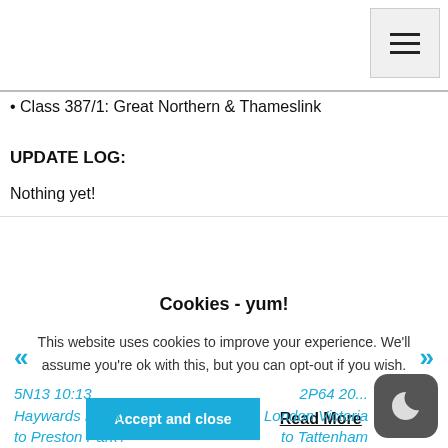• Class 387/1: Great Northern & Thameslink
UPDATE LOG:
Nothing yet!
Cookies - yum!
This website uses cookies to improve your experience. We'll assume you're ok with this, but you can opt-out if you wish.
Accept and close   Read More
5N13 10:13 Haywards Heath to Preston Park /
2P64 20... London Victoria to Tattenham